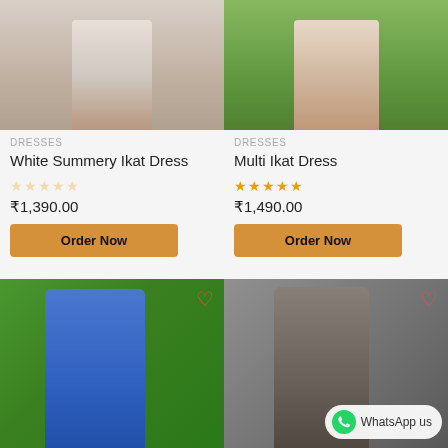[Figure (photo): Woman wearing white Ikat dress, lower body visible, red heels]
[Figure (photo): Woman wearing multi Ikat dress, lower body visible, white sneakers, garden background]
DRESSES
White Summery Ikat Dress
[Figure (other): Star rating: 0 out of 5 (empty stars)]
₹1,390.00
Order Now
DRESSES
Multi Ikat Dress
[Figure (other): Star rating: 5 out of 5 (filled stars)]
₹1,490.00
Order Now
[Figure (photo): Woman in blue striped Ikat dress, green leafy background, heart/wishlist icon top right]
[Figure (photo): Woman in grey Ikat dress, grey studio background, heart/wishlist icon top right, WhatsApp us badge bottom right]